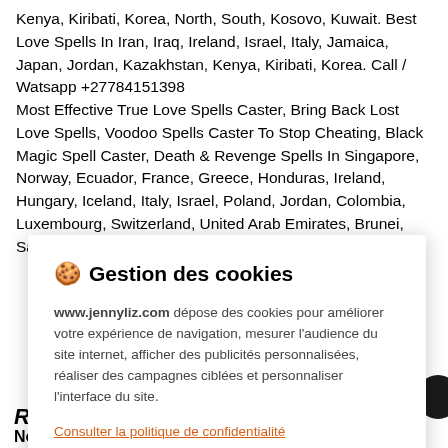Kenya, Kiribati, Korea, North, South, Kosovo, Kuwait. Best Love Spells In Iran, Iraq, Ireland, Israel, Italy, Jamaica, Japan, Jordan, Kazakhstan, Kenya, Kiribati, Korea. Call / Watsapp +27784151398
Most Effective True Love Spells Caster, Bring Back Lost Love Spells, Voodoo Spells Caster To Stop Cheating, Black Magic Spell Caster, Death & Revenge Spells In Singapore, Norway, Ecuador, France, Greece, Honduras, Ireland, Hungary, Iceland, Italy, Israel, Poland, Jordan, Colombia, Luxembourg, Switzerland, United Arab Emirates, Brunei, San Marino, Denmark, Netherlands, Malta, Spain
[Figure (screenshot): Cookie consent modal dialog with title 'Gestion des cookies', body text explaining cookie usage on www.jennyliz.com, a link 'Consulter la politique de confidentialité', and three buttons: REFUSER, PARAMÉTRER, ACCEPTER]
R
Nom *